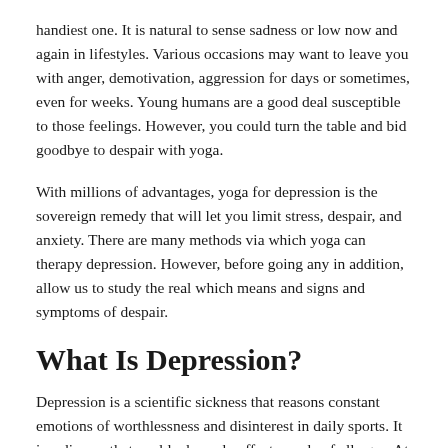handiest one. It is natural to sense sadness or low now and again in lifestyles. Various occasions may want to leave you with anger, demotivation, aggression for days or sometimes, even for weeks. Young humans are a good deal susceptible to those feelings. However, you could turn the table and bid goodbye to despair with yoga.
With millions of advantages, yoga for depression is the sovereign remedy that will let you limit stress, despair, and anxiety. There are many methods via which yoga can therapy depression. However, before going any in addition, allow us to study the real which means and signs and symptoms of despair.
What Is Depression?
Depression is a scientific sickness that reasons constant emotions of worthlessness and disinterest in daily sports. It is a disease that could adversely affect people of all ages. At